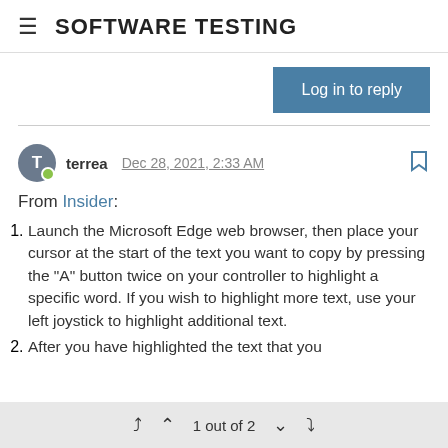SOFTWARE TESTING
Log in to reply
terrea Dec 28, 2021, 2:33 AM
From Insider:
Launch the Microsoft Edge web browser, then place your cursor at the start of the text you want to copy by pressing the "A" button twice on your controller to highlight a specific word. If you wish to highlight more text, use your left joystick to highlight additional text.
After you have highlighted the text that you
1 out of 2